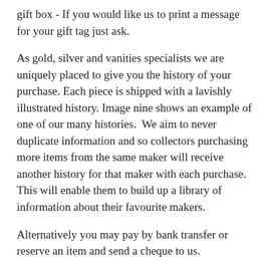gift box - If you would like us to print a message for your gift tag just ask.
As gold, silver and vanities specialists we are uniquely placed to give you the history of your purchase. Each piece is shipped with a lavishly illustrated history. Image nine shows an example of one of our many histories.  We aim to never duplicate information and so collectors purchasing more items from the same maker will receive another history for that maker with each purchase. This will enable them to build up a library of information about their favourite makers.
Alternatively you may pay by bank transfer or reserve an item and send a cheque to us.
Please contact us for reservations or to discuss layaway